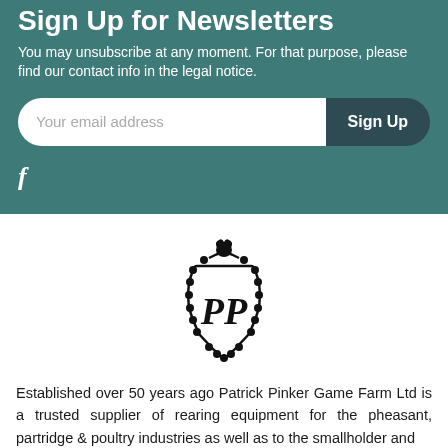Sign Up for Newsletters
You may unsubscribe at any moment. For that purpose, please find our contact info in the legal notice.
[Figure (screenshot): Email input field with placeholder 'Your email address' and a 'Sign Up' button]
[Figure (logo): Patrick Pinker Game Farm Ltd crest logo with PP monogram and bird on top]
Established over 50 years ago Patrick Pinker Game Farm Ltd is a trusted supplier of rearing equipment for the pheasant, partridge & poultry industries as well as to the smallholder and